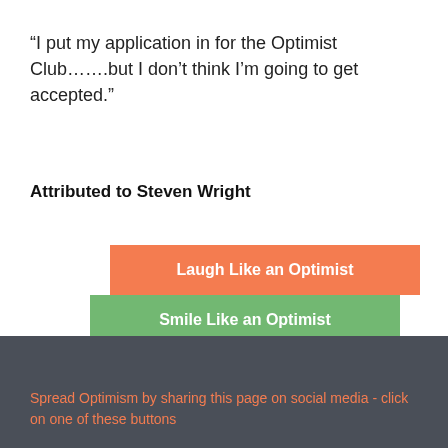“I put my application in for the Optimist Club…….but I don’t think I’m going to get accepted.”
Attributed to Steven Wright
[Figure (infographic): Three stacked button-style rectangles: orange 'Laugh Like an Optimist', green 'Smile Like an Optimist', orange 'Optimism Can be Learned', slightly offset to the left each row]
Spread Optimism by sharing this page on social media - click on one of these buttons